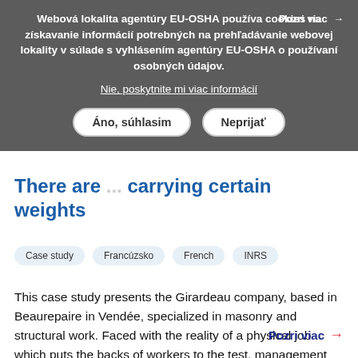Webová lokalita agentúry EU-OSHA používa cookies na získavanie informácií potrebných na prehľadávanie webovej lokality v súlade s vyhlásením agentúry EU-OSHA o používaní osobných údajov.
Nie, poskytnite mi viac informácií
Pozri viac →
Áno, súhlasim | Neprijať
There are ... carrying certain weights
Case study
Francúzsko
French
INRS
This case study presents the Girardeau company, based in Beaurepaire in Vendée, specialized in masonry and structural work. Faced with the reality of a physical job which puts the backs of workers to the test, management has implemented a prevention approach which aims in particular to limit the...
Pozri viac →